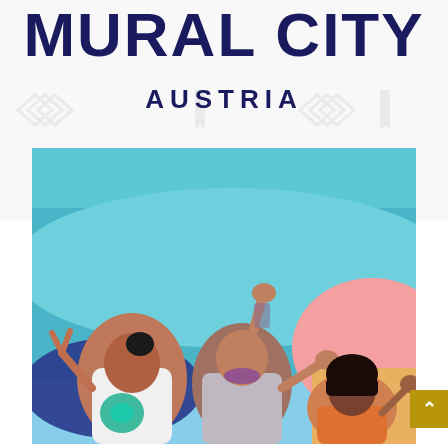MURAL CITY
AUSTRIA
[Figure (photo): Three people posing and celebrating in front of a colorful painted skate park ramp. The background features bold turquoise, blue, and pink mural shapes. On the left is a woman in a white t-shirt making a peace sign, in the center is a bald man raising his fist with a tattoo on his arm wearing a grey t-shirt, and on the right is a woman with short dark hair waving, wearing an orange top.]